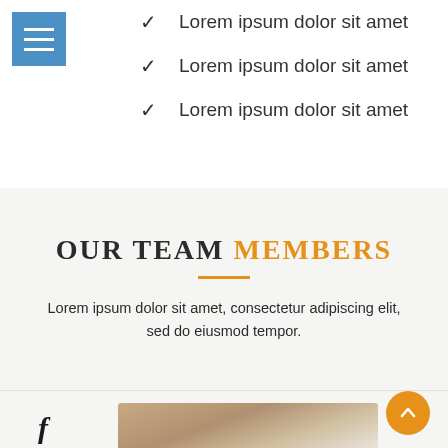[Figure (illustration): Blue square menu/hamburger icon with three white horizontal lines]
✓  Lorem ipsum dolor sit amet
✓  Lorem ipsum dolor sit amet
✓  Lorem ipsum dolor sit amet
OUR TEAM MEMBERS
Lorem ipsum dolor sit amet, consectetur adipiscing elit, sed do eiusmod tempor.
[Figure (photo): Partial photo of a person, cropped at bottom of page]
[Figure (illustration): Orange circular back-to-top button with upward chevron arrow]
[Figure (logo): Facebook 'f' icon in dark color]